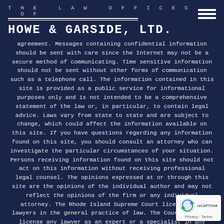THE LAW OFFICES OF
HOWE & GARSIDE, LTD.
agreement. Messages containing confidential information should be sent with care since the Internet may not be a secure method of communicating. Time sensitive information should not be sent without other forms of communication such as a telephone call. The information contained in this site is provided as a public service for informational purposes only and is not intended to be a comprehensive statement of the law or, in particular, to contain legal advice. Laws vary from state to state and are subject to change, which could affect the information available on this site. If you have questions regarding any information found on this site, you should consult an attorney who can investigate the particular circumstances of your situation. Persons receiving information found on this site should not act on this information without receiving professional legal counsel. The opinions expressed at or through this site are the opinions of the individual author and may not reflect the opinions of the firm or any individual attorney. The Rhode Island Supreme Court licenses all lawyers in the general practice of law. The Court does not license any lawyer as an expert or a specialist in any field of practice.
[Figure (logo): reCAPTCHA badge with Privacy and Terms links]